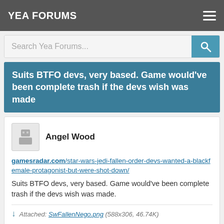YEA FORUMS
Search Yea Forums...
Suits BTFO devs, very based. Game would've been complete trash if the devs wish was made
Angel Wood
gamesradar.com/star-wars-jedi-fallen-order-devs-wanted-a-blackfemale-protagonist-but-were-shot-down/
Suits BTFO devs, very based. Game would've been complete trash if the devs wish was made.
Attached: SwFallenNego.png (588x306, 46.74K)
Cameron Gutierrez
I don't give a fuck about nu-Wars